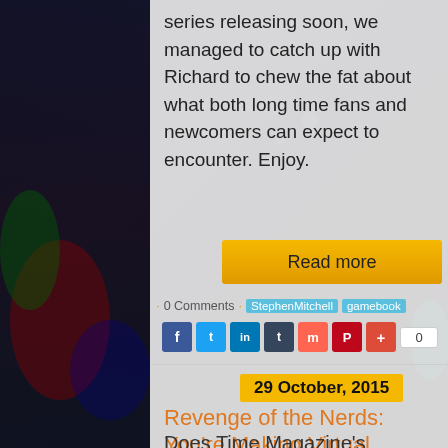series releasing soon, we managed to catch up with Richard to chew the fat about what both long time fans and newcomers can expect to encounter. Enjoy.
Read more
· 0 Comments · StephenMitchell gamebook
[Figure (other): Social media sharing icons: Facebook, Twitter, LinkedIn, Tumblr, Mix, Pinterest, plus button, and count box showing 0]
29 October, 2015
Revenge of the Nerds: You're Making Virtual Reality Look Bad!
Does Time Magazine's notorious cover really bode